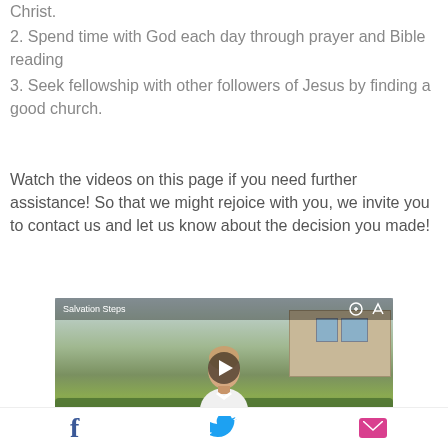Christ.
2. Spend time with God each day through prayer and Bible reading
3. Seek fellowship with other followers of Jesus by finding a good church.
Watch the videos on this page if you need further assistance! So that we might rejoice with you, we invite you to contact us and let us know about the decision you made!
[Figure (screenshot): Video thumbnail labeled 'Salvation Steps' showing an older bald man in a white shirt standing outdoors in front of a house with trees and shrubs. A play button is visible in the center. A watermark reading 'Prayers' is in the bottom right corner.]
[Figure (infographic): Social media sharing bar with Facebook (f), Twitter (bird), and email (envelope) icons.]